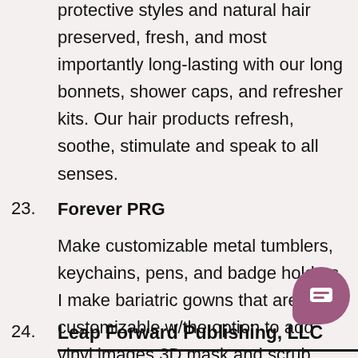protective styles and natural hair preserved, fresh, and most importantly long-lasting with our long bonnets, shower caps, and refresher kits. Our hair products refresh, soothe, stimulate and speak to all senses.
23. Forever PRG
Make customizable metal tumblers, keychains, pens, and badge holders. I make bariatric gowns that are customizable w/the option to add vinyl images 3D mask and scrub caps
24. Leap Forward Publishing, LLC